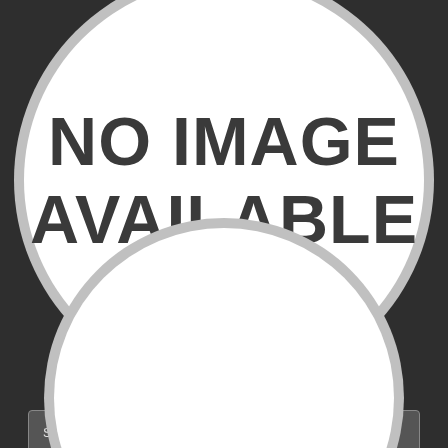[Figure (other): Large circle with white background displaying 'NO IMAGE AVAILABLE' text in dark bold font, set against a dark gray background]
Skillful massage therapist just finished with the relaxing body rub. Her client paid extra inadditionto he would similar a happy ending, so she gave him an oily handjob.
[Figure (other): Partial circle visible at bottom of page, white background with gray border ring, against dark gray background]